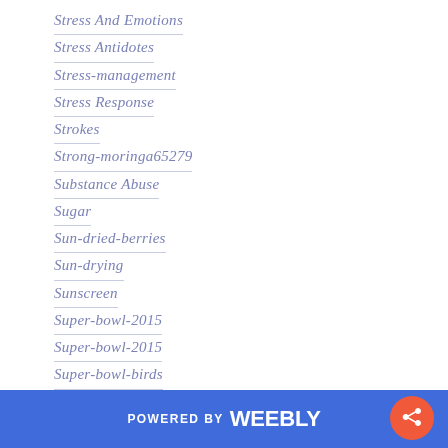Stress And Emotions
Stress Antidotes
Stress-management
Stress Response
Strokes
Strong-moringa65279
Substance Abuse
Sugar
Sun-dried-berries
Sun-drying
Sunscreen
Super-bowl-2015
Super-bowl-2015
Super-bowl-birds
Super-bowl-drinks
Super-bowl-foods
Super-bowl-foods
POWERED BY weebly